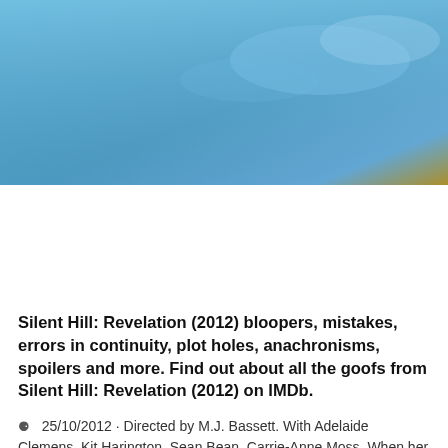[Figure (photo): Blue sky header banner with gradient toward golden/orange at bottom right]
Search Here
Silent Hill: Revelation (2012) bloopers, mistakes, errors in continuity, plot holes, anachronisms, spoilers and more. Find out about all the goofs from Silent Hill: Revelation (2012) on IMDb.
25/10/2012 · Directed by M.J. Bassett. With Adelaide Clemens, Kit Harington, Sean Bean, Carrie-Anne Moss. When her adoptive father disappears, Sharon Da Silva is drawn into a strange and terrifying alternate reality that holds answers to the horrific nightmares that have plagued her since childhood.